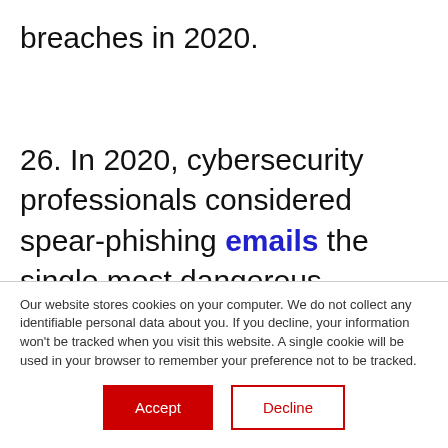breaches in 2020.

26. In 2020, cybersecurity professionals considered spear-phishing emails the single most dangerous malware attack vector at 83%, followed by web server exploits and domain spoofing with 46% each. For 45% of
Our website stores cookies on your computer. We do not collect any identifiable personal data about you. If you decline, your information won't be tracked when you visit this website. A single cookie will be used in your browser to remember your preference not to be tracked.